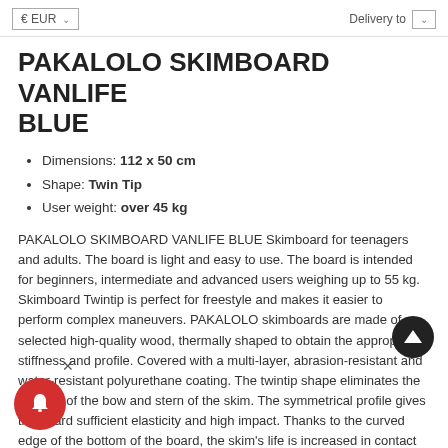€ EUR   Delivery to
PAKALOLO SKIMBOARD VANLIFE BLUE
Dimensions: 112 x 50 cm
Shape: Twin Tip
User weight: over 45 kg
PAKALOLO SKIMBOARD VANLIFE BLUE Skimboard for teenagers and adults. The board is light and easy to use. The board is intended for beginners, intermediate and advanced users weighing up to 55 kg. Skimboard Twintip is perfect for freestyle and makes it easier to perform complex maneuvers. PAKALOLO skimboards are made of selected high-quality wood, thermally shaped to obtain the appropriate stiffness and profile. Covered with a multi-layer, abrasion-resistant and water-resistant polyurethane coating. The twintip shape eliminates the concept of the bow and stern of the skim. The symmetrical profile gives the board sufficient elasticity and high impact. Thanks to the curved edge of the bottom of the board, the skim's life is increased in contact with the elements on which you perform